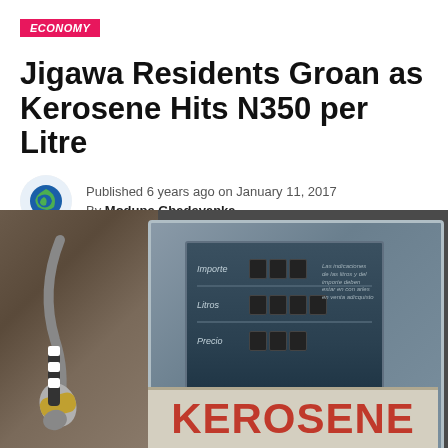ECONOMY
Jigawa Residents Groan as Kerosene Hits N350 per Litre
Published 6 years ago on January 11, 2017
By Modupe Gbadeyanka
[Figure (photo): Photo of a kerosene pump dispenser with a nozzle on the left, a digital/mechanical meter display panel in the center showing 'Importe', 'Litros', and 'Precio' labels, and a large 'KEROSENE' text on the lower panel.]